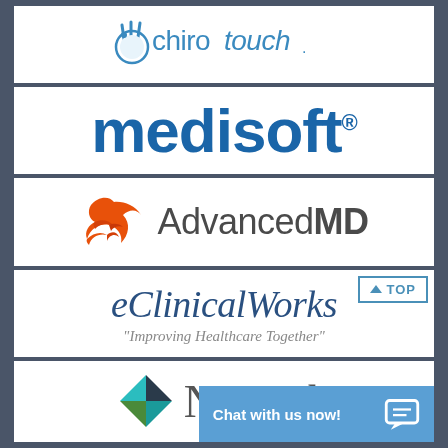[Figure (logo): ChiroTouch logo with stylized hand icon and blue text]
[Figure (logo): Medisoft logo in large bold blue text with registered trademark]
[Figure (logo): AdvancedMD logo with orange hummingbird icon and dark text]
[Figure (logo): eClinicalWorks logo in italic blue text with tagline 'Improving Healthcare Together']
[Figure (logo): Nextech logo with teal and green geometric diamond icon and grey text]
[Figure (screenshot): Chat with us now! button overlay in blue]